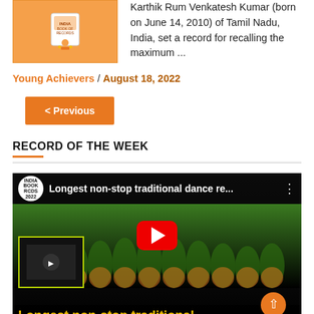[Figure (photo): Thumbnail image showing an award/certificate on orange background]
Karthik Rum Venkatesh Kumar (born on June 14, 2010) of Tamil Nadu, India, set a record for recalling the maximum ...
Young Achievers / August 18, 2022
< Previous
RECORD OF THE WEEK
[Figure (screenshot): YouTube video thumbnail titled 'Longest non-stop traditional dance re...' showing a group of dancers in green and yellow saris with a YouTube play button overlay]